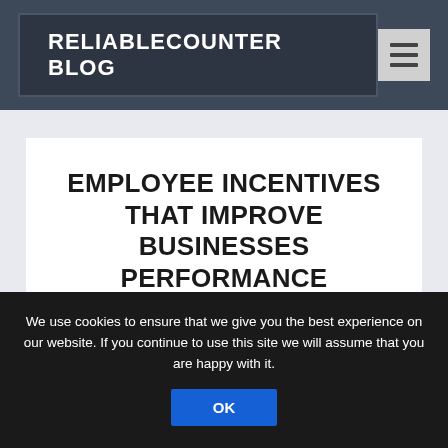RELIABLECOUNTER BLOG
EMPLOYEE INCENTIVES THAT IMPROVE BUSINESSES PERFORMANCE
Posted by thomas | Apr 2, 2020 | Business,
Employee life & productivity
We use cookies to ensure that we give you the best experience on our website. If you continue to use this site we will assume that you are happy with it.
OK